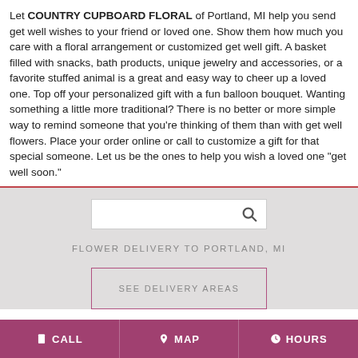Let COUNTRY CUPBOARD FLORAL of Portland, MI help you send get well wishes to your friend or loved one. Show them how much you care with a floral arrangement or customized get well gift. A basket filled with snacks, bath products, unique jewelry and accessories, or a favorite stuffed animal is a great and easy way to cheer up a loved one. Top off your personalized gift with a fun balloon bouquet. Wanting something a little more traditional? There is no better or more simple way to remind someone that you're thinking of them than with get well flowers. Place your order online or call to customize a gift for that special someone. Let us be the ones to help you wish a loved one "get well soon."
[Figure (screenshot): Search input box with magnifying glass icon on gray background]
FLOWER DELIVERY TO PORTLAND, MI
SEE DELIVERY AREAS
CALL   MAP   HOURS